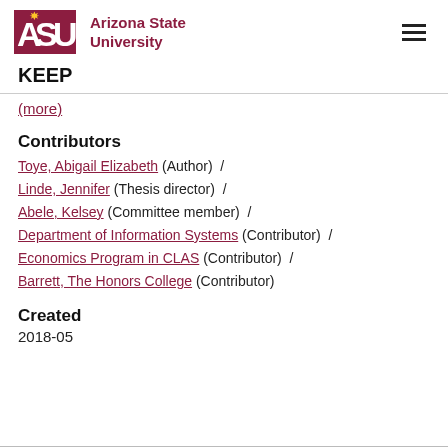Arizona State University — KEEP
(more)
Contributors
Toye, Abigail Elizabeth (Author)  /
Linde, Jennifer (Thesis director)  /
Abele, Kelsey (Committee member)  /
Department of Information Systems (Contributor)  /
Economics Program in CLAS (Contributor)  /
Barrett, The Honors College (Contributor)
Created
2018-05